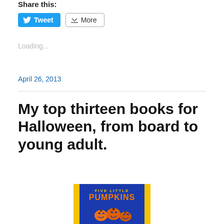Share this:
Tweet   More
Loading...
April 26, 2013
My top thirteen books for Halloween, from board to young adult.
[Figure (photo): Book cover for 'Five Little Pumpkins' showing orange pumpkins on a blue background with yellow border]